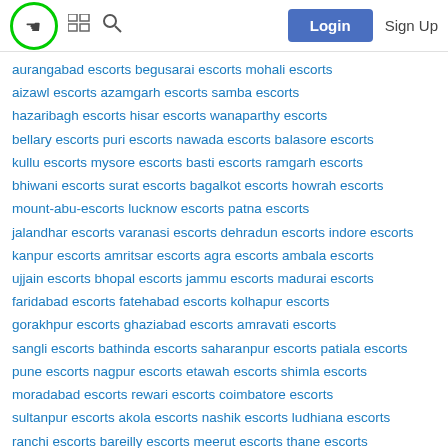Login  Sign Up
aurangabad escorts begusarai escorts mohali escorts aizawl escorts azamgarh escorts samba escorts hazaribagh escorts hisar escorts wanaparthy escorts bellary escorts puri escorts nawada escorts balasore escorts kullu escorts mysore escorts basti escorts ramgarh escorts bhiwani escorts surat escorts bagalkot escorts howrah escorts mount-abu-escorts lucknow escorts patna escorts jalandhar escorts varanasi escorts dehradun escorts indore escorts kanpur escorts amritsar escorts agra escorts ambala escorts ujjain escorts bhopal escorts jammu escorts madurai escorts faridabad escorts fatehabad escorts kolhapur escorts gorakhpur escorts ghaziabad escorts amravati escorts sangli escorts bathinda escorts saharanpur escorts patiala escorts pune escorts nagpur escorts etawah escorts shimla escorts moradabad escorts rewari escorts coimbatore escorts sultanpur escorts akola escorts nashik escorts ludhiana escorts ranchi escorts bareilly escorts meerut escorts thane escorts panchkula escorts vizianagaram escorts cuttack escorts panipat escorts samastipur escorts dharwad escorts gangtok escorts manali escorts chandigarh escorts jodhpur escorts